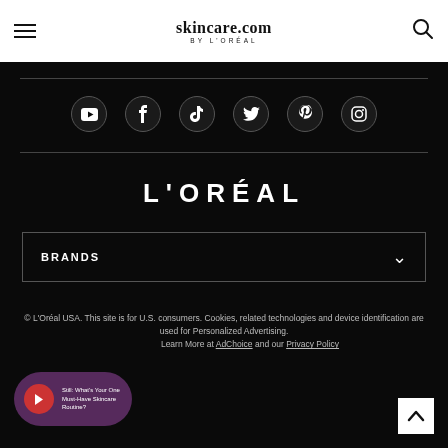skincare.com BY L'ORÉAL
[Figure (logo): skincare.com by L'Oréal logo with hamburger menu and search icon]
[Figure (infographic): Social media icons row: YouTube, Facebook, TikTok, Twitter, Pinterest, Instagram on dark background]
L'ORÉAL
BRANDS
© L'Oréal USA. This site is for U.S. consumers. Cookies, related technologies and device identification are used for Personalized Advertising. Learn More at AdChoice and our Privacy Policy